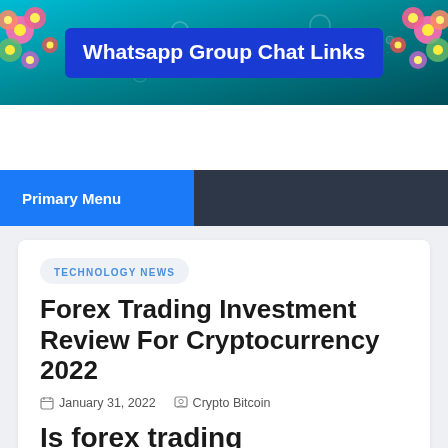[Figure (illustration): Website banner with blue background and flower decorations on sides, blue box with white text 'Whatsapp Group Chat Links']
Primary Menu
TECHNOLOGY NEWS
Forex Trading Investment Review For Cryptocurrency 2022
January 31, 2022   Crypto Bitcoin
Is forex trading